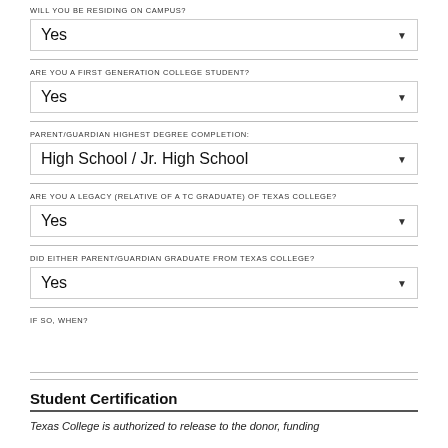WILL YOU BE RESIDING ON CAMPUS?
Yes
ARE YOU A FIRST GENERATION COLLEGE STUDENT?
Yes
PARENT/GUARDIAN HIGHEST DEGREE COMPLETION:
High School / Jr. High School
ARE YOU A LEGACY (RELATIVE OF A TC GRADUATE) OF TEXAS COLLEGE?
Yes
DID EITHER PARENT/GUARDIAN GRADUATE FROM TEXAS COLLEGE?
Yes
IF SO, WHEN?
Student Certification
Texas College is authorized to release to the donor, funding